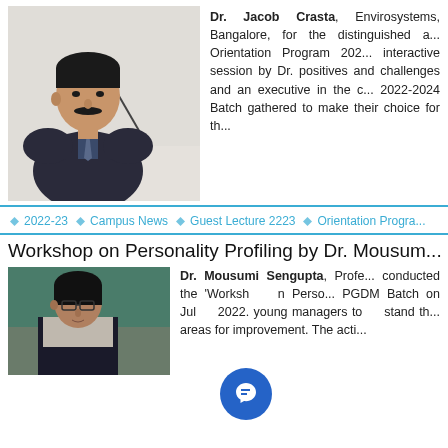[Figure (photo): Photo of Dr. Jacob Crasta speaking at a podium with a microphone, wearing a dark suit]
Dr. Jacob Crasta, Envirosystems, Bangalore, for the distinguished a... Orientation Program 202... interactive session by Dr. positives and challenges and an executive in the c... 2022-2024 Batch gathered to make their choice for th...
2022-23
Campus News
Guest Lecture 2223
Orientation Progra...
Workshop on Personality Profiling by Dr. Mousum...
[Figure (photo): Photo of Dr. Mousumi Sengupta, a woman with glasses and a patterned scarf, standing in front of a green board]
Dr. Mousumi Sengupta, Profe... conducted the 'Workshop on Perso... PGDM Batch on July 2022... young managers to understand th... areas for improvement. The acti...